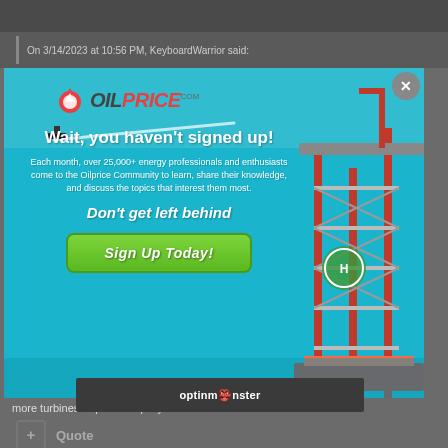On 3/14/2023 at 10:56 PM, KeyboardWarrior said:
[Figure (infographic): OilPrice.com popup advertisement with oil rig background. Contains logo, headline 'Wait, you haven't signed up!', body text about 25,000+ energy professionals, 'Don't get left behind' subheading, and 'Sign Up Today!' green button. Close X button in top right.]
more turbines or panels rapidly heads towards zero.
[Figure (logo): OptinMonster branding bar]
+ Quote